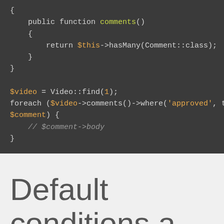[Figure (screenshot): Code block showing PHP code with a comments() method returning $this->hasMany(Comment::class), followed by $video = Video::find(1); and a foreach loop iterating over $video->comments()->where('approved', tr... with $comment) { // $comment->body }]
Default conditions a ordering